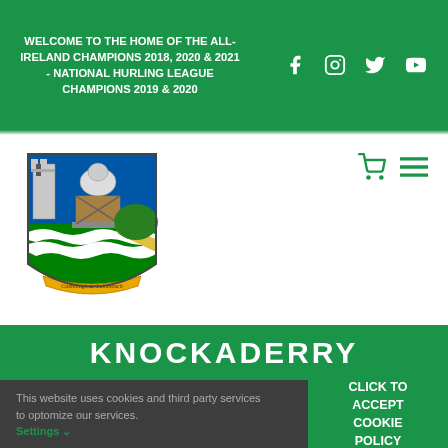WELCOME TO THE HOME OF THE ALL-IRELAND CHAMPIONS 2018, 2020 & 2021 - NATIONAL HURLING LEAGUE CHAMPIONS 2019 & 2020
[Figure (logo): Limerick GAA county crest/coat of arms with motto 'Cuimhnigh ar Luimneach']
KNOCKADERRY
This website uses cookies and third party services to optomize our services. Settings
CLICK TO ACCEPT COOKIE POLICY